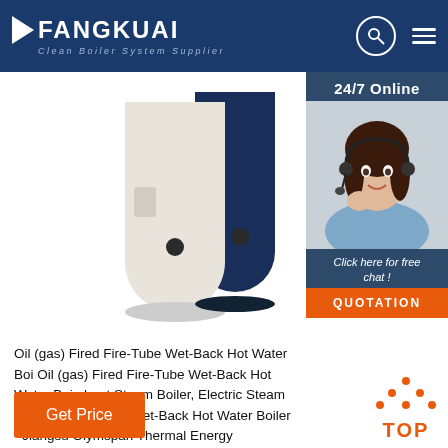FANGKUAI - Clean Boiler System Supplier
[Figure (photo): Oil (gas) fired fire-tube wet-back hot water boiler product photo showing cylindrical white and dark blue boiler units]
[Figure (photo): 24/7 Online customer service agent - woman with headset smiling, with chat overlay and QUOTATION button]
Oil (gas) Fired Fire-Tube Wet-Back Hot Water Boiler Oil (gas) Fired Fire-Tube Wet-Back Hot Water Boiler about Steam Boiler, Electric Steam Boiler from Oil (gas) Fired Fire-Tube Wet-Back Hot Water Boiler - Jiangsu Olymspan Thermal Energy Equipment Co., Ltd.
[Figure (other): Get Price orange button]
[Figure (other): TOP navigation button with orange dots triangle icon]